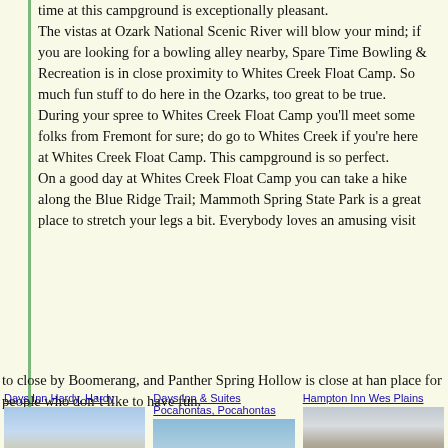time at this campground is exceptionally pleasant. The vistas at Ozark National Scenic River will blow your mind; if you are looking for a bowling alley nearby, Spare Time Bowling & Recreation is in close proximity to Whites Creek Float Camp. So much fun stuff to do here in the Ozarks, too great to be true. During your spree to Whites Creek Float Camp you'll meet some folks from Fremont for sure; do go to Whites Creek if you're here at Whites Creek Float Camp. This campground is so perfect. On a good day at Whites Creek Float Camp you can take a hike along the Blue Ridge Trail; Mammoth Spring State Park is a great place to stretch your legs a bit. Everybody loves an amusing visit to close by Boomerang, and Panther Spring Hollow is close at hand place for people who don't like to have fun.
[Figure (photo): Photo of Days Inn Hardy, Hardy hotel exterior with sky]
[Figure (photo): Photo of Days Inn & Suites Pocahontas, Pocahontas hotel exterior]
[Figure (photo): Photo of Hampton Inn West Plains hotel interior/exterior]